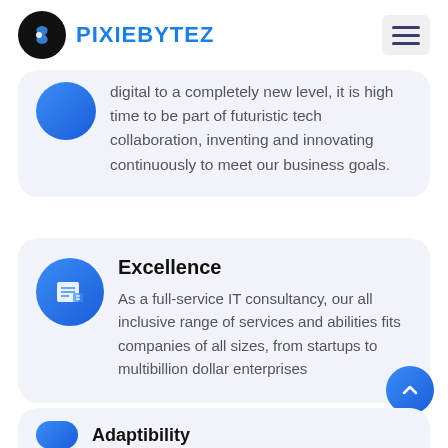PIXIEBYTEZ
digital to a completely new level, it is high time to be part of futuristic tech collaboration, inventing and innovating continuously to meet our business goals.
Excellence
As a full-service IT consultancy, our all inclusive range of services and abilities fits companies of all sizes, from startups to multibillion dollar enterprises
Adaptibility